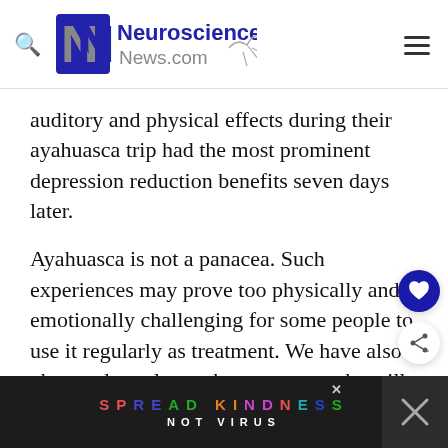Neuroscience News.com
auditory and physical effects during their ayahuasca trip had the most prominent depression reduction benefits seven days later.
Ayahuasca is not a panacea. Such experiences may prove too physically and emotionally challenging for some people to use it regularly as treatment. We have also observed regular ayahuasca users who still suffer from depression.
[Figure (other): Advertisement banner at the bottom reading SPREAD KINDNESS NOT VIRUS in colorful text on dark background]